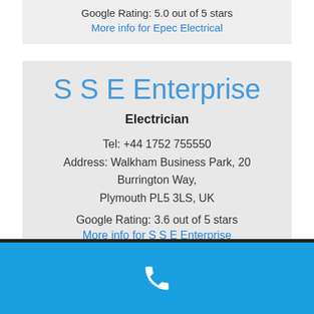Google Rating: 5.0 out of 5 stars
More info for Epec Electrical
S S E Enterprise
Electrician
Tel: +44 1752 755550
Address: Walkham Business Park, 20 Burrington Way, Plymouth PL5 3LS, UK
Google Rating: 3.6 out of 5 stars
More info for S S E Enterprise
[Figure (other): Blue bottom navigation bar with white phone icon]